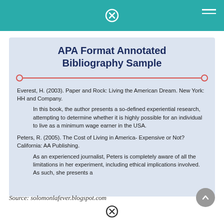APA Format Annotated Bibliography Sample
Everest, H. (2003). Paper and Rock: Living the American Dream. New York: HH and Company.
In this book, the author presents a so-defined experiential research, attempting to determine whether it is highly possible for an individual to live as a minimum wage earner in the USA.
Peters, R. (2005). The Cost of Living in America- Expensive or Not? California: AA Publishing.
As an experienced journalist, Peters is completely aware of all the limitations in her experiment, including ethical implications involved. As such, she presents a
Source: solomonlafever.blogspot.com